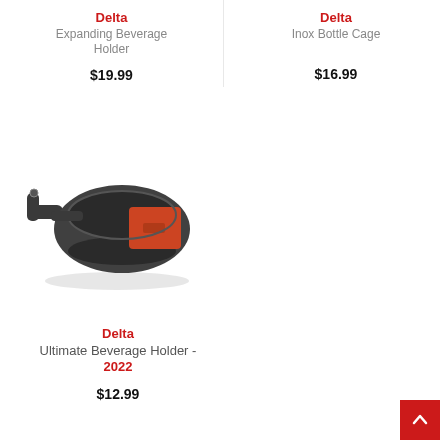Delta Expanding Beverage Holder
$19.99
Delta Inox Bottle Cage
$16.99
[Figure (photo): Photo of a Delta expanding beverage holder — a round dark grey cup holder with an orange strap and handlebar clamp attachment]
Delta Ultimate Beverage Holder - 2022
$12.99